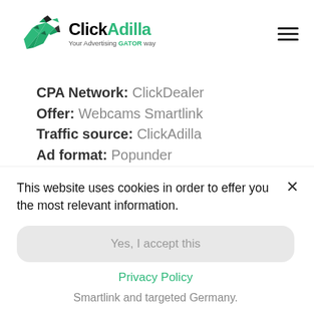[Figure (logo): ClickAdilla logo with origami raptor bird in green and dark colors, text 'ClickAdilla' with tagline 'Your Advertising GATOR way']
CPA Network: ClickDealer
Offer: Webcams Smartlink
Traffic source: ClickAdilla
Ad format: Popunder
GEO: Germany
Period: 23 - 29/04/2021
This website uses cookies in order to effer you the most relevant information.
Yes, I accept this
Privacy Policy
Smartlink and targeted Germany.